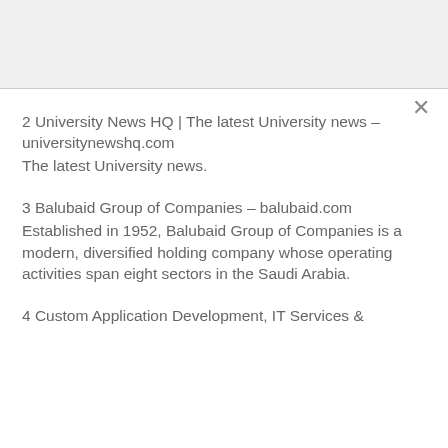2 University News HQ | The latest University news – universitynewshq.com
The latest University news.
3 Balubaid Group of Companies – balubaid.com
Established in 1952, Balubaid Group of Companies is a modern, diversified holding company whose operating activities span eight sectors in the Saudi Arabia.
4 Custom Application Development, IT Services &